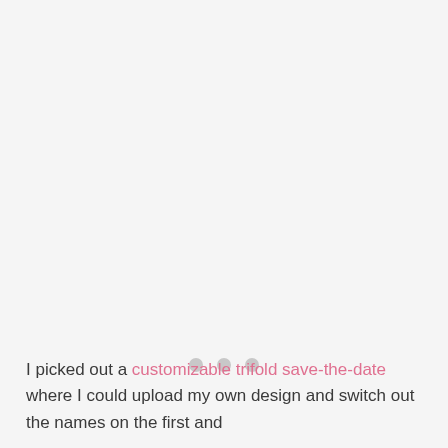[Figure (other): Loading indicator with three gray dots centered on a light gray background]
I picked out a customizable trifold save-the-date where I could upload my own design and switch out the names on the first and